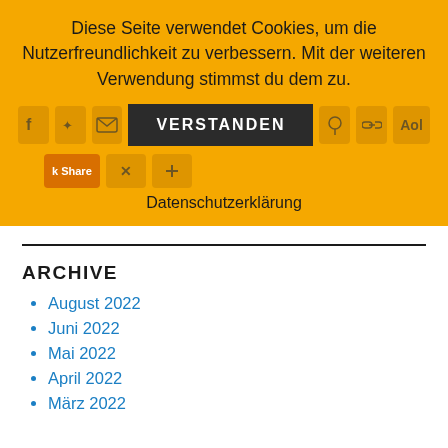Diese Seite verwendet Cookies, um die Nutzerfreundlichkeit zu verbessern. Mit der weiteren Verwendung stimmst du dem zu.
[Figure (screenshot): Cookie consent banner with share icons and VERSTANDEN button on orange background]
Datenschutzerklärung
ARCHIVE
August 2022
Juni 2022
Mai 2022
April 2022
März 2022